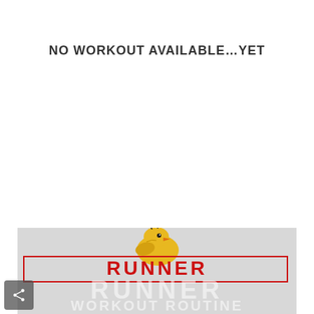NO WORKOUT AVAILABLE…YET
[Figure (illustration): Partial banner image at bottom of screen showing a cartoon yellow chick/bird illustration above a red-bordered rectangle containing the word RUNNER in red bold text, with large white watermark text reading RUNNER and partially visible WORKOUT ROUTINE below, on a light gray background.]